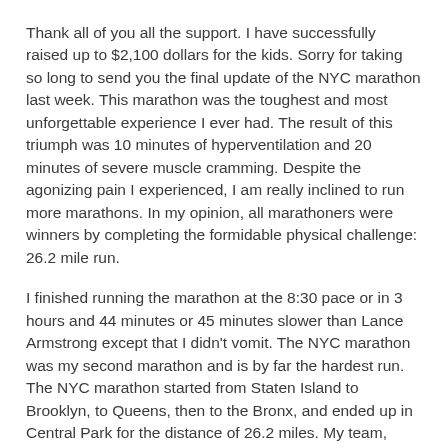Thank all of you all the support. I have successfully raised up to $2,100 dollars for the kids. Sorry for taking so long to send you the final update of the NYC marathon last week. This marathon was the toughest and most unforgettable experience I ever had. The result of this triumph was 10 minutes of hyperventilation and 20 minutes of severe muscle cramming. Despite the agonizing pain I experienced, I am really inclined to run more marathons. In my opinion, all marathoners were winners by completing the formidable physical challenge: 26.2 mile run.
I finished running the marathon at the 8:30 pace or in 3 hours and 44 minutes or 45 minutes slower than Lance Armstrong except that I didn't vomit. The NYC marathon was my second marathon and is by far the hardest run. The NYC marathon started from Staten Island to Brooklyn, to Queens, then to the Bronx, and ended up in Central Park for the distance of 26.2 miles. My team, Team for Kids, was the nation's largest marathon team with 1,000 members with the totally 37,000 runners.